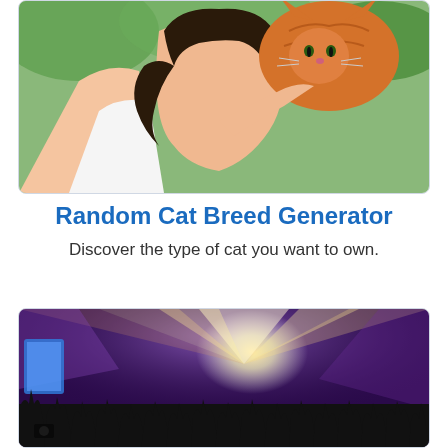[Figure (photo): A girl with dark hair in a ponytail holding an orange/ginger cat up near her face, outdoors with green foliage in background]
Random Cat Breed Generator
Discover the type of cat you want to own.
[Figure (photo): Concert crowd silhouettes with hands raised, colorful purple and white stage lighting beams from above]